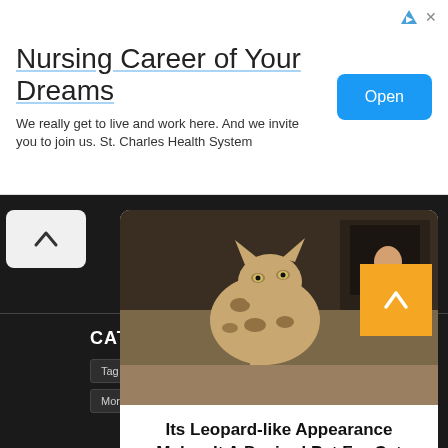[Figure (infographic): Advertisement banner for St. Charles Health System nursing career with title, subtitle, and Open button]
Nursing Career of Your Dreams
We really get to live and work here. And we invite you to join us. St. Charles Health System
[Figure (photo): Photo of a large leopard-like spotted cat (Savannah cat) walking toward the camera with a woman in a black jacket in the background]
Its Leopard-like Appearance Makes It A Desired Pet For Cat Lovers
Brainberries
CATEGORIES